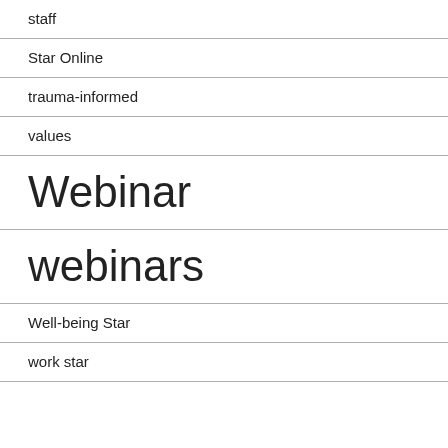staff
Star Online
trauma-informed
values
Webinar
webinars
Well-being Star
work star